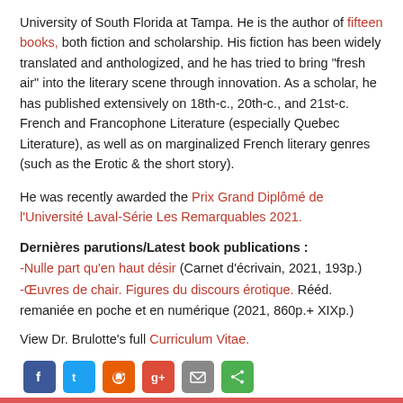University of South Florida at Tampa. He is the author of fifteen books, both fiction and scholarship. His fiction has been widely translated and anthologized, and he has tried to bring "fresh air" into the literary scene through innovation. As a scholar, he has published extensively on 18th-c., 20th-c., and 21st-c. French and Francophone Literature (especially Quebec Literature), as well as on marginalized French literary genres (such as the Erotic & the short story).
He was recently awarded the Prix Grand Diplômé de l'Université Laval-Série Les Remarquables 2021.
Dernières parutions/Latest book publications :
-Nulle part qu'en haut désir (Carnet d'écrivain, 2021, 193p.)
-Œuvres de chair. Figures du discours érotique. Rééd. remaniée en poche et en numérique (2021, 860p.+ XIXp.)
View Dr. Brulotte's full Curriculum Vitae.
[Figure (infographic): Social sharing icons: Facebook, Twitter, Reddit, Google+, Email, Share]
[Figure (infographic): Print button with printer icon]